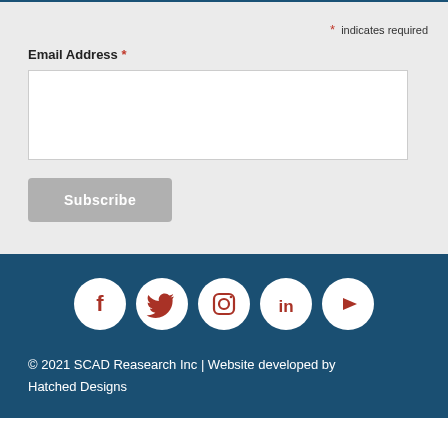* indicates required
Email Address *
[Figure (screenshot): Email address input text field, white background with border]
Subscribe
[Figure (infographic): Row of 5 social media icons (Facebook, Twitter, Instagram, LinkedIn, YouTube) as white symbols on dark red circles]
© 2021 SCAD Reasearch Inc | Website developed by Hatched Designs